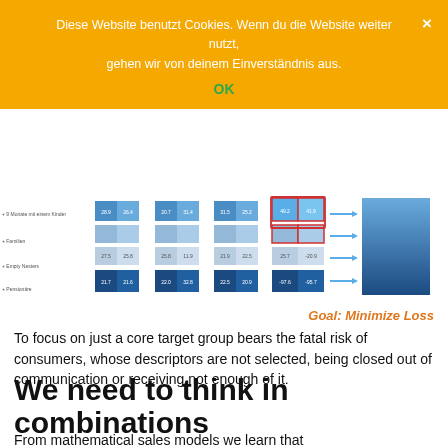Diese Website benutzt Cookies. Wenn du die Website weiter nutzt, gehen wir von deinem Einverständnis aus.
OK
[Figure (stacked-bar-chart): Stacked bar chart showing multiple consumer segments across different groups, with highlighted column in red border. Arrows point right on the rightmost bars. Y-axis labels: + 9 Monate mit einem Kinder, + Familien, + Empty Nesters, + Pensionäre]
Goal: Minimize Loss
To focus on just a core target group bears the fatal risk of consumers, whose descriptors are not selected, being closed out of communication or receiving not enough of it.
We need to think in combinations
From mathematical sales models we learn that